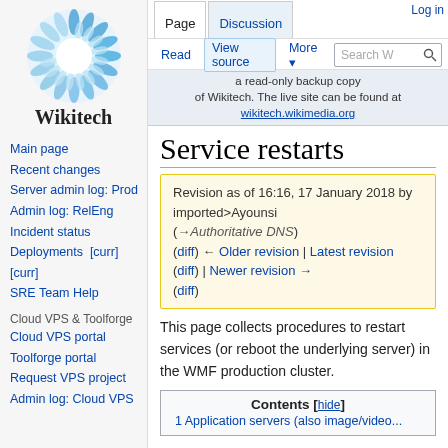[Figure (logo): Wikitech logo: blue flower/gear shape with white center, and text 'Wikitech' below]
Log in
Page | Discussion | Read | View source | More | Search W
a read-only backup copy of Wikitech. The live site can be found at wikitech.wikimedia.org
Service restarts
Revision as of 16:16, 17 January 2018 by imported>Ayounsi (→Authoritative DNS) (diff) ← Older revision | Latest revision (diff) | Newer revision → (diff)
This page collects procedures to restart services (or reboot the underlying server) in the WMF production cluster.
Contents [hide]
1 Application servers (also image/video...
Main page
Recent changes
Server admin log: Prod
Admin log: RelEng
Incident status
Deployments [curr] [curr]
SRE Team Help
Cloud VPS & Toolforge
Cloud VPS portal
Toolforge portal
Request VPS project
Admin log: Cloud VPS